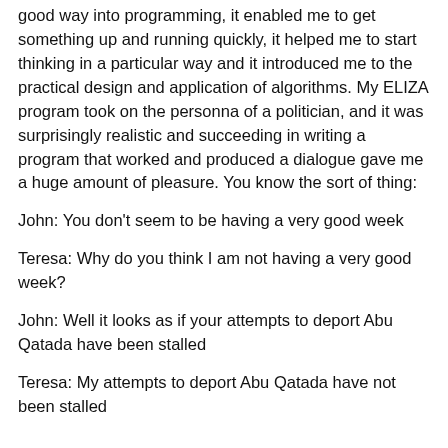good way into programming, it enabled me to get something up and running quickly, it helped me to start thinking in a particular way and it introduced me to the practical design and application of algorithms. My ELIZA program took on the personna of a politician, and it was surprisingly realistic and succeeding in writing a program that worked and produced a dialogue gave me a huge amount of pleasure. You know the sort of thing:
John: You don't seem to be having a very good week
Teresa: Why do you think I am not having a very good week?
John: Well it looks as if your attempts to deport Abu Qatada have been stalled
Teresa: My attempts to deport Abu Qatada have not been stalled...